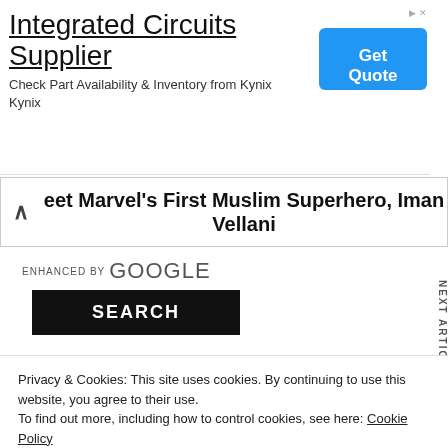[Figure (screenshot): Advertisement banner: Integrated Circuits Supplier - Check Part Availability & Inventory from Kynix / Kynix, with blue Get Quote button]
eet Marvel's First Muslim Superhero, Iman Vellani
PREVIOUS ARTICLE
NEXT ARTICLE
ENHANCED BY Google
SEARCH
Privacy & Cookies: This site uses cookies. By continuing to use this website, you agree to their use.
To find out more, including how to control cookies, see here: Cookie Policy
Close and accept
[Figure (screenshot): Bottom advertisement strip with chip image and 'chip products' text in red]